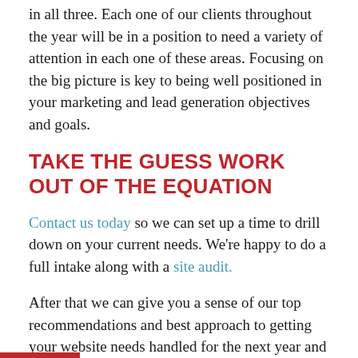in all three. Each one of our clients throughout the year will be in a position to need a variety of attention in each one of these areas. Focusing on the big picture is key to being well positioned in your marketing and lead generation objectives and goals.
TAKE THE GUESS WORK OUT OF THE EQUATION
Contact us today so we can set up a time to drill down on your current needs. We're happy to do a full intake along with a site audit.
After that we can give you a sense of our top recommendations and best approach to getting your website needs handled for the next year and beyond.